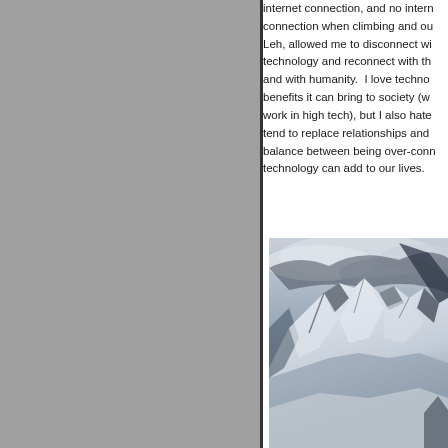internet connection, and no internet connection when climbing and out of Leh, allowed me to disconnect with technology and reconnect with the land and with humanity.  I love technology and the benefits it can bring to society (which is why I work in high tech), but I also hate the ways it tend to replace relationships and the need to balance between being over-connected and the technology can add to our lives.
[Figure (photo): Aerial or high-altitude photograph of snow-covered mountain peaks with dramatic cloud cover. High contrast black and white / desaturated blue-grey tones showing steep rocky ridges and glaciated slopes.]